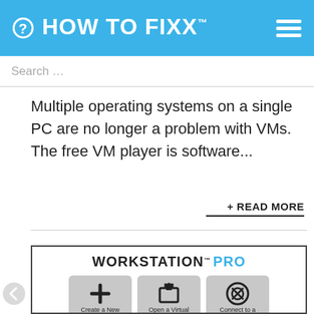HOW TO FIXX.com
Search …
Multiple operating systems on a single PC are no longer a problem with VMs. The free VM player is software…
+ READ MORE
[Figure (screenshot): VMware Workstation PRO application screenshot showing logo and three option cards: Create a New Virtual Machine, Open a Virtual Machine, Connect to a Remote Server]